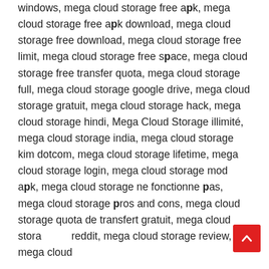windows, mega cloud storage free apk, mega cloud storage free apk download, mega cloud storage free download, mega cloud storage free limit, mega cloud storage free space, mega cloud storage free transfer quota, mega cloud storage full, mega cloud storage google drive, mega cloud storage gratuit, mega cloud storage hack, mega cloud storage hindi, Mega Cloud Storage illimité, mega cloud storage india, mega cloud storage kim dotcom, mega cloud storage lifetime, mega cloud storage login, mega cloud storage mod apk, mega cloud storage ne fonctionne pas, mega cloud storage pros and cons, mega cloud storage quota de transfert gratuit, mega cloud storage reddit, mega cloud storage review, mega cloud